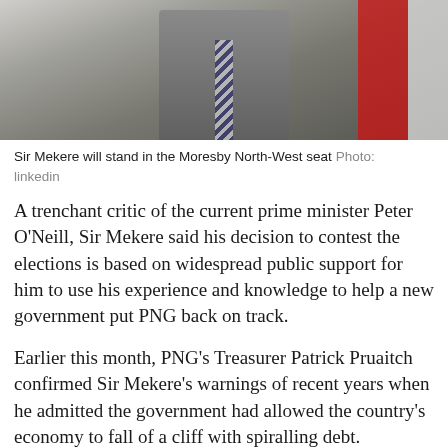[Figure (photo): Photo of a man in a suit with a striped tie, with a red and white flag visible in the background to the right.]
Sir Mekere will stand in the Moresby North-West seat Photo: linkedin
A trenchant critic of the current prime minister Peter O'Neill, Sir Mekere said his decision to contest the elections is based on widespread public support for him to use his experience and knowledge to help a new government put PNG back on track.
Earlier this month, PNG's Treasurer Patrick Pruaitch confirmed Sir Mekere's warnings of recent years when he admitted the government had allowed the country's economy to fall of a cliff with spiralling debt.
Meanwhile, Peter O'Neill called on Sir Mekere to